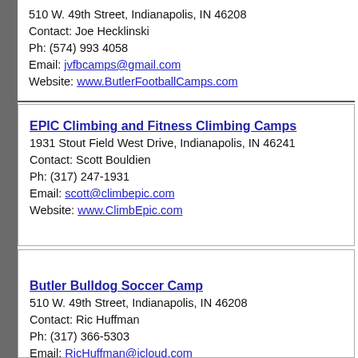510 W. 49th Street, Indianapolis, IN 46208
Contact: Joe Hecklinski
Ph: (574) 993 4058
Email: jvfbcamps@gmail.com
Website: www.ButlerFootballCamps.com
EPIC Climbing and Fitness Climbing Camps
1931 Stout Field West Drive, Indianapolis, IN 46241
Contact: Scott Bouldien
Ph: (317) 247-1931
Email: scott@climbepic.com
Website: www.ClimbEpic.com
Butler Bulldog Soccer Camp
510 W. 49th Street, Indianapolis, IN 46208
Contact: Ric Huffman
Ph: (317) 366-5303
Email: RicHuffman@icloud.com
Website: www.ButlerBulldogSoccer.com